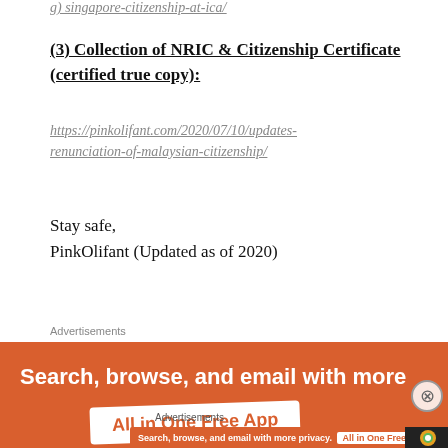g) singapore-citizenship-at-ica/
(3) Collection of NRIC & Citizenship Certificate (certified true copy):
https://pinkolifant.com/2020/07/10/updates-renunciation-of-malaysian-citizenship/
Stay safe,
PinkOlifant (Updated as of 2020)
Advertisements
[Figure (infographic): DuckDuckGo advertisement banner: orange background with white bold text 'Search, browse, and email with more' and a white badge reading 'All in One Free App']
Advertisements
[Figure (infographic): Smaller DuckDuckGo advertisement: orange banner with text 'Search, browse, and email with more privacy. All in One Free App' and DuckDuckGo logo on dark right panel]